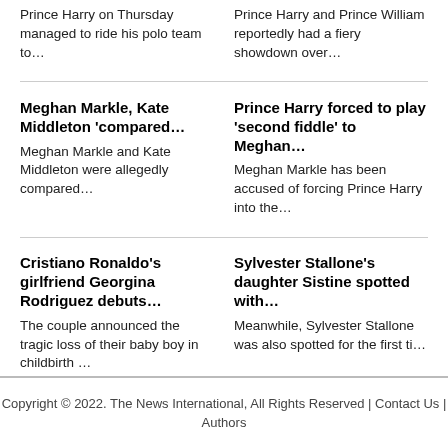Prince Harry on Thursday managed to ride his polo team to…
Prince Harry and Prince William reportedly had a fiery showdown over…
Meghan Markle, Kate Middleton 'compared…
Prince Harry forced to play 'second fiddle' to Meghan…
Meghan Markle and Kate Middleton were allegedly compared…
Meghan Markle has been accused of forcing Prince Harry into the…
Cristiano Ronaldo's girlfriend Georgina Rodriguez debuts…
Sylvester Stallone's daughter Sistine spotted with…
The couple announced the tragic loss of their baby boy in childbirth …
Meanwhile, Sylvester Stallone was also spotted for the first ti…
Copyright © 2022. The News International, All Rights Reserved | Contact Us | Authors